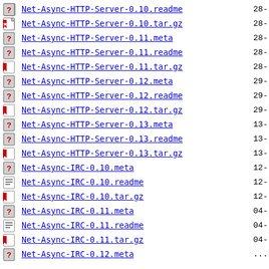Net-Async-HTTP-Server-0.10.readme  28-
Net-Async-HTTP-Server-0.10.tar.gz  28-
Net-Async-HTTP-Server-0.11.meta  28-
Net-Async-HTTP-Server-0.11.readme  28-
Net-Async-HTTP-Server-0.11.tar.gz  28-
Net-Async-HTTP-Server-0.12.meta  29-
Net-Async-HTTP-Server-0.12.readme  29-
Net-Async-HTTP-Server-0.12.tar.gz  29-
Net-Async-HTTP-Server-0.13.meta  13-
Net-Async-HTTP-Server-0.13.readme  13-
Net-Async-HTTP-Server-0.13.tar.gz  13-
Net-Async-IRC-0.10.meta  12-
Net-Async-IRC-0.10.readme  12-
Net-Async-IRC-0.10.tar.gz  12-
Net-Async-IRC-0.11.meta  04-
Net-Async-IRC-0.11.readme  04-
Net-Async-IRC-0.11.tar.gz  04-
Net-Async-IRC-0.12.meta  ...